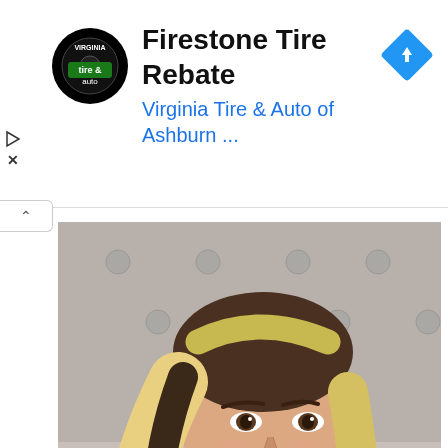[Figure (infographic): Advertisement banner for Firestone Tire Rebate by Virginia Tire & Auto of Ashburn. Shows circular black logo with tire&auto text, ad title in bold black, subtitle in blue, and a blue diamond navigation icon on the right. Play and X controls on the left side.]
[Figure (photo): Young woman with long blonde hair taking a selfie, wearing a light blue top, lying against a tufted gray headboard. She has brown eyes, full lips, and is looking directly at the camera.]
Alexa Dellanos Bio, Family, Career, Boyfriend, Net Worth, Measurements
[Figure (photo): Partial view of a second photo showing a woman with brown hair, cropped at the bottom of the page.]